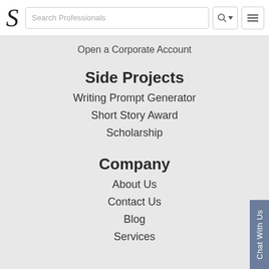Search Professionals
Open a Corporate Account
Side Projects
Writing Prompt Generator
Short Story Award
Scholarship
Company
About Us
Contact Us
Blog
Services